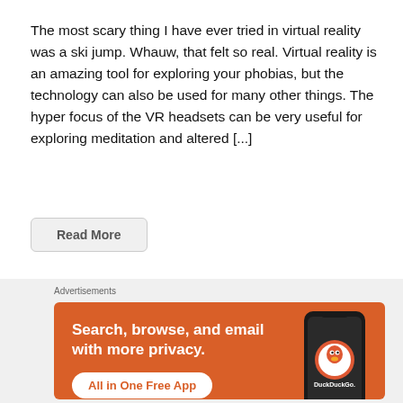The most scary thing I have ever tried in virtual reality was a ski jump. Whauw, that felt so real. Virtual reality is an amazing tool for exploring your phobias, but the technology can also be used for many other things. The hyper focus of the VR headsets can be very useful for exploring meditation and altered [...]
Read More
Advertisements
[Figure (infographic): DuckDuckGo advertisement banner with orange background. Text reads: 'Search, browse, and email with more privacy. All in One Free App' with a phone graphic showing the DuckDuckGo logo.]